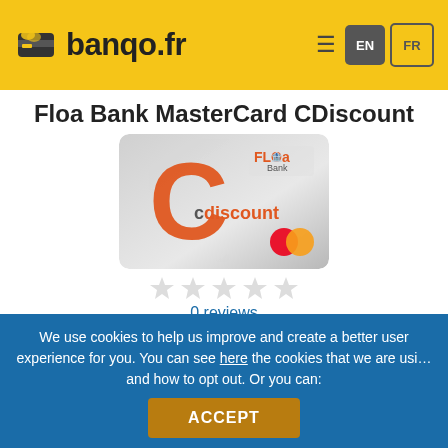banqo.fr
Floa Bank MasterCard CDiscount
[Figure (photo): Floa Bank Cdiscount MasterCard credit card image — silver card with large orange C letter and Cdiscount branding, FLOA Bank logo top right, Mastercard logo bottom right]
0 reviews
Cashback 1% of all payments made with the card, in vouchers
We use cookies to help us improve and create a better user experience for you. You can see here the cookies that we are using and how to opt out. Or you can:
ACCEPT